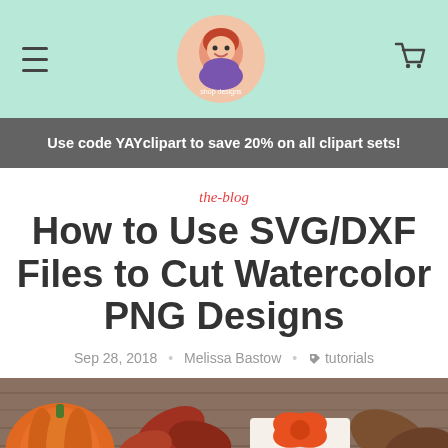Blog website header with logo and navigation
Use code YAYclipart to save 20% on all clipart sets!
the-blog
How to Use SVG/DXF Files to Cut Watercolor PNG Designs
Sep 28, 2018 • Melissa Bastow • tutorials
[Figure (photo): Autumn flat lay photo showing a pumpkin, fall leaves, and a gift with orange ribbon on a wooden surface]